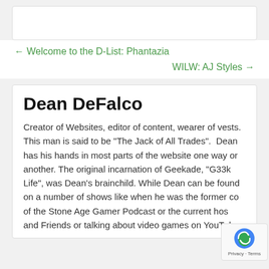← Welcome to the D-List: Phantazia
WILW: AJ Styles →
Dean DeFalco
Creator of Websites, editor of content, wearer of vests. This man is said to be "The Jack of All Trades".  Dean has his hands in most parts of the website one way or another. The original incarnation of Geekade, "G33k Life", was Dean's brainchild. While Dean can be found on a number of shows like when he was the former co... of the Stone Age Gamer Podcast or the current hos... and Friends or talking about video games on YouTube